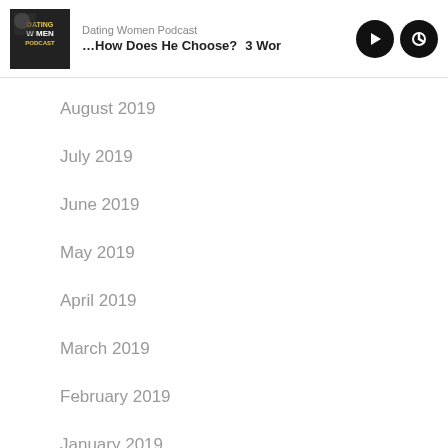Dating Women Podcast — …How Does He Choose? 3 Wor
August 2019
July 2019
June 2019
May 2019
April 2019
March 2019
February 2019
January 2019